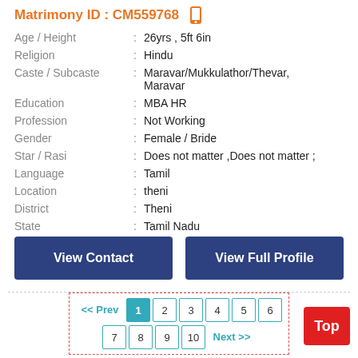Matrimony ID : CM559768
| Field | : | Value |
| --- | --- | --- |
| Age / Height | : | 26yrs , 5ft 6in |
| Religion | : | Hindu |
| Caste / Subcaste | : | Maravar/Mukkulathor/Thevar, Maravar |
| Education | : | MBA HR |
| Profession | : | Not Working |
| Gender | : | Female / Bride |
| Star / Rasi | : | Does not matter ,Does not matter ; |
| Language | : | Tamil |
| Location | : | theni |
| District | : | Theni |
| State | : | Tamil Nadu |
| Country | : | India |
View Contact
View Full Profile
<< Prev  1  2  3  4  5  6  7  8  9  10  Next >>
Top